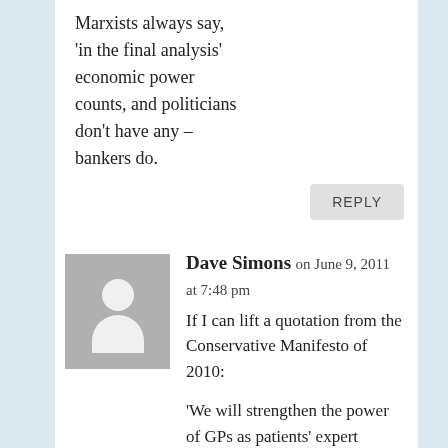Marxists always say, 'in the final analysis' economic power counts, and politicians don't have any – bankers do.
REPLY
Dave Simons on June 9, 2011 at 7:48 pm
If I can lift a quotation from the Conservative Manifesto of 2010:
'We will strengthen the power of GPs as patients' expert guides through the health